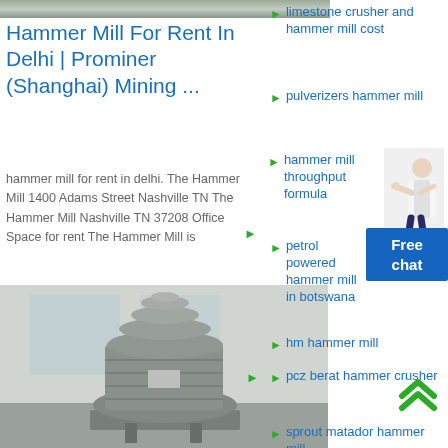[Figure (photo): Top strip: partial industrial image, gray tones]
Hammer Mill For Rent In Delhi | Prominer (Shanghai) Mining ...
hammer mill for rent in delhi. The Hammer Mill 1400 Adams Street Nashville TN The Hammer Mill Nashville TN 37208 Office Space for rent The Hammer Mill is
[Figure (photo): Industrial cone crusher / hammer mill machine in a factory setting, gray colored machine on a concrete floor]
limestone crusher and hammer mill cost
pulverizers hammer mill
hammer mill throughput formula
petrol powered hammer mill in botswana
hm hammer mill
pcz berat hammer crusher
sprout matador hammer mill